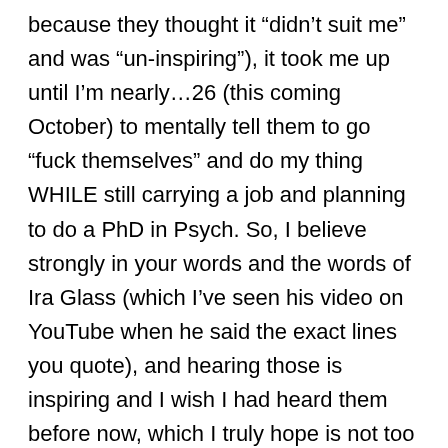because they thought it “didn’t suit me” and was “un-inspiring”), it took me up until I’m nearly…26 (this coming October) to mentally tell them to go “fuck themselves” and do my thing WHILE still carrying a job and planning to do a PhD in Psych. So, I believe strongly in your words and the words of Ira Glass (which I’ve seen his video on YouTube when he said the exact lines you quote), and hearing those is inspiring and I wish I had heard them before now, which I truly hope is not too late for me.

Also, yeah, about structured courses on